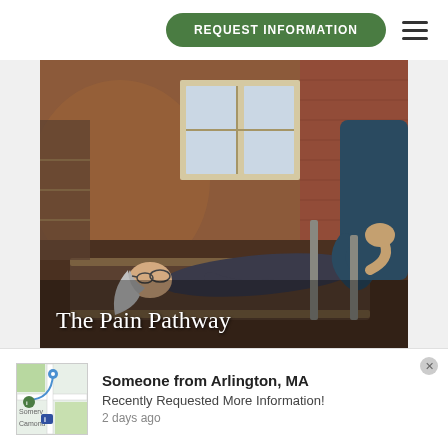REQUEST INFORMATION
[Figure (photo): A woman lying on a Pilates reformer machine with a trainer assisting, in a studio with brick walls and natural light. Text overlay reads 'The Pain Pathway'.]
Someone from Arlington, MA
Recently Requested More Information!
2 days ago